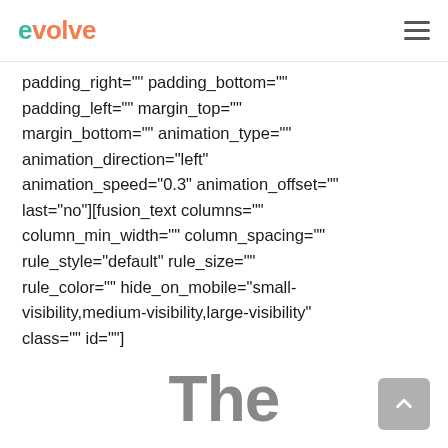evolve
padding_right="" padding_bottom="" padding_left="" margin_top="" margin_bottom="" animation_type="" animation_direction="left" animation_speed="0.3" animation_offset="" last="no"][fusion_text columns="" column_min_width="" column_spacing="" rule_style="default" rule_size="" rule_color="" hide_on_mobile="small-visibility,medium-visibility,large-visibility" class="" id=""]
The